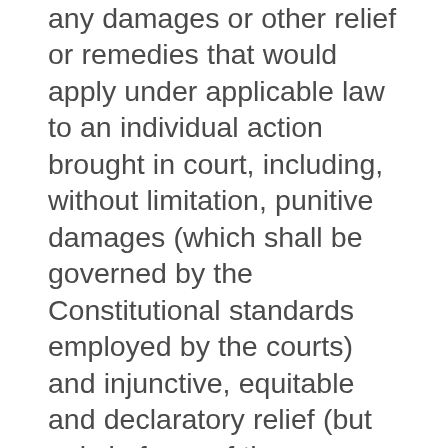any damages or other relief or remedies that would apply under applicable law to an individual action brought in court, including, without limitation, punitive damages (which shall be governed by the Constitutional standards employed by the courts) and injunctive, equitable and declaratory relief (but only in favor of the individual party seeking relief and only to the extent necessary to provide relief warranted by that party's individual claim). The arbitrator will have the authority to award fees and costs of attorneys, witnesses and experts to the extent permitted by the Contract, the Administrator's rules or applicable law. However, with respect to Claim(s) asserted by you in an individual arbitration, we will pay your reasonable attorney, witness and expert fees and costs if and